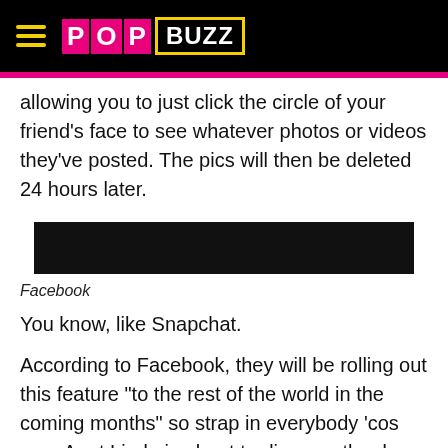PopBuzz
allowing you to just click the circle of your friend's face to see whatever photos or videos they've posted. The pics will then be deleted 24 hours later.
[Figure (photo): Black redacted/placeholder image bar]
Facebook
You know, like Snapchat.
According to Facebook, they will be rolling out this feature "to the rest of the world in the coming months" so strap in everybody 'cos your Aunt Linda is about to discover the dog filter and she will NOT stop posting!